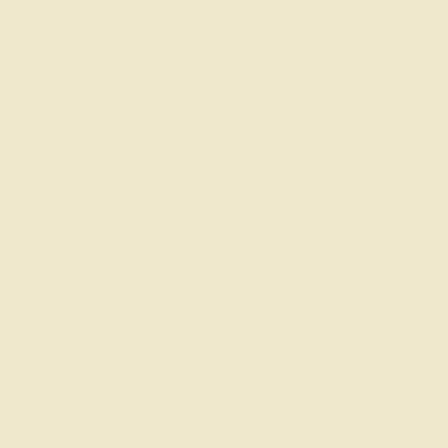[Figure (photo): Book cover: 300 Years of Kitchen Collectibles by Linda Campbell Franklin, green cover with kitchen items]
Franklin, Linda C. Listings, Photos. Iola. Krause. 2003. color. Important ref
Price: $30
[Figure (photo): Book cover: Kitchen collectibles guide, teal/green cover with Kitchen text]
Franklin, Linda. 3 Guide. Photo available. cover. Second edition work. Very scarce
Price: $20
[Figure (photo): Book cover: cookbook or food related book with brownish/tan cover]
Franklin, Paul. A available. np. Self Illustrated in black, condition. Inscribed